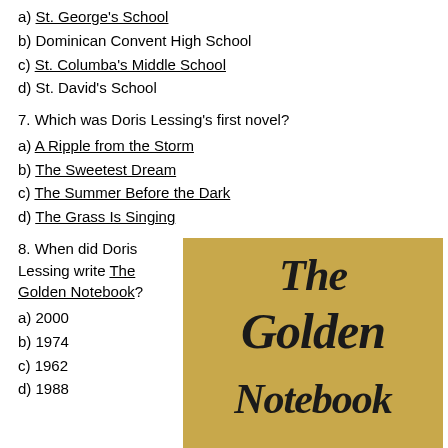a) St. George's School
b) Dominican Convent High School
c) St. Columba's Middle School
d) St. David's School
7. Which was Doris Lessing's first novel?
a) A Ripple from the Storm
b) The Sweetest Dream
c) The Summer Before the Dark
d) The Grass Is Singing
8. When did Doris Lessing write The Golden Notebook?
a) 2000
b) 1974
c) 1962
d) 1988
[Figure (photo): Book cover of The Golden Notebook by Doris Lessing, tan/golden background with large stylized dark brush-script lettering reading 'The Golden Notebook']